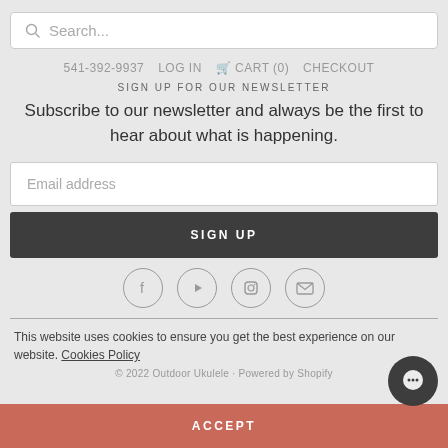Search...
541-392-9937   LOG IN   CART (0)   CHECKOUT
SIGN UP FOR OUR NEWSLETTER
Subscribe to our newsletter and always be the first to hear about what is happening.
Email address
SIGN UP
[Figure (other): Social media icons: Facebook, YouTube, Instagram, Email]
This website uses cookies to ensure you get the best experience on our website. Cookies Policy
© 2022 Outdoor Ukulele · Powered by Shopify
ACCEPT